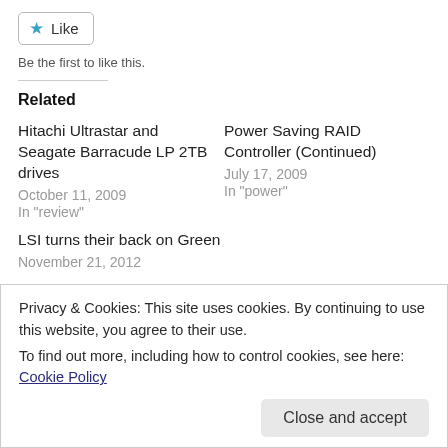[Figure (other): Like button with star icon and border]
Be the first to like this.
Related
Hitachi Ultrastar and Seagate Barracude LP 2TB drives
October 11, 2009
In "review"
Power Saving RAID Controller (Continued)
July 17, 2009
In "power"
LSI turns their back on Green
November 21, 2012
Privacy & Cookies: This site uses cookies. By continuing to use this website, you agree to their use.
To find out more, including how to control cookies, see here: Cookie Policy